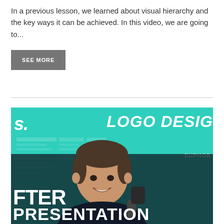In a previous lesson, we learned about visual hierarchy and the key ways it can be achieved. In this video, we are going to...
SEE MORE
[Figure (screenshot): Video thumbnail for a logo design lesson showing a man smiling in front of a teal background with the text 'LOGO DESIGN' and 'AFTER PRESENTATION' partially visible.]